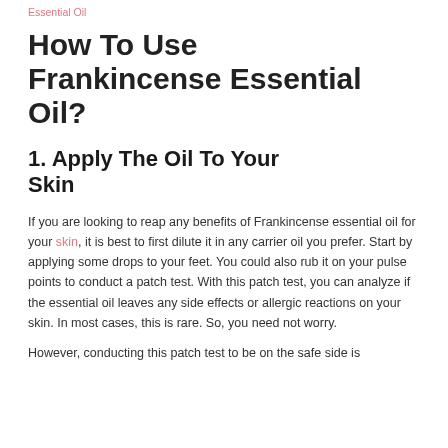Essential Oil
How To Use Frankincense Essential Oil?
1. Apply The Oil To Your Skin
If you are looking to reap any benefits of Frankincense essential oil for your skin, it is best to first dilute it in any carrier oil you prefer. Start by applying some drops to your feet. You could also rub it on your pulse points to conduct a patch test. With this patch test, you can analyze if the essential oil leaves any side effects or allergic reactions on your skin. In most cases, this is rare. So, you need not worry.
However, conducting this patch test to be on the safe side is